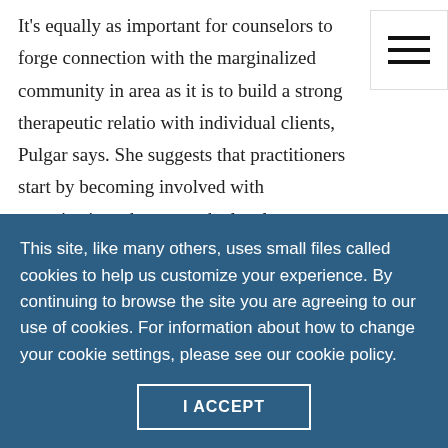It's equally as important for counselors to forge connection with the marginalized community in area as it is to build a strong therapeutic relatio with individual clients, Pulgar says. She suggests that practitioners start by becoming involved with organizations that serve the local marginalized community and participate in events such as health fairs.
“Get out of the four walls of the office,” Pulgar
This site, like many others, uses small files called cookies to help us customize your experience. By continuing to browse the site you are agreeing to our use of cookies. For information about how to change your cookie settings, please see our cookie policy.